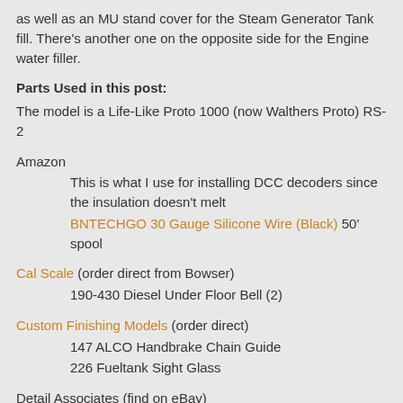as well as an MU stand cover for the Steam Generator Tank fill. There's another one on the opposite side for the Engine water filler.
Parts Used in this post:
The model is a Life-Like Proto 1000 (now Walthers Proto) RS-2
Amazon
This is what I use for installing DCC decoders since the insulation doesn't melt
BNTECHGO 30 Gauge Silicone Wire (Black) 50' spool
Cal Scale (order direct from Bowser)
190-430 Diesel Under Floor Bell (2)
Custom Finishing Models (order direct)
147 ALCO Handbrake Chain Guide
226 Fueltank Sight Glass
Detail Associates (find on eBay)
1504 MU Stand - EMD Intermediate, Double